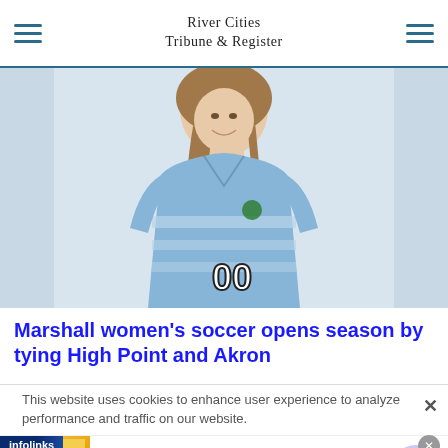River Cities Tribune & Register
[Figure (photo): Female soccer player in light blue jersey number 00, smiling, long brown hair, partial torso shot cropped at face and waist]
Marshall women's soccer opens season by tying High Point and Akron
This website uses cookies to enhance user experience to analyze performance and traffic on our website.
[Figure (other): Infolinks advertisement banner: Top Junior Gold Mining Stock - Get access to the next top mining "Micro Cap" here! www.rivres.com, with gold bar image and blue arrow button]